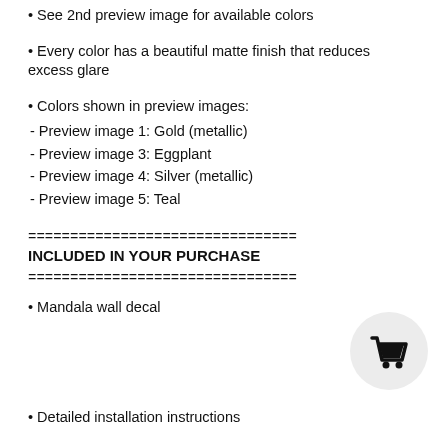• See 2nd preview image for available colors
• Every color has a beautiful matte finish that reduces excess glare
• Colors shown in preview images:
- Preview image 1: Gold (metallic)
- Preview image 3: Eggplant
- Preview image 4: Silver (metallic)
- Preview image 5: Teal
================================
INCLUDED IN YOUR PURCHASE
================================
• Mandala wall decal
[Figure (illustration): Shopping cart icon button (circular gray button with black cart icon)]
• Detailed installation instructions